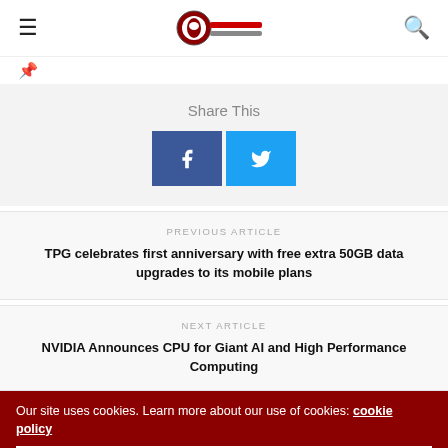Navigation header with hamburger menu, Red Frog Revolutionist logo, and search icon
[Figure (logo): Small red and grey circular logo for Red Frog Revolutionist website]
Share This
[Figure (infographic): Facebook and Twitter share buttons]
PREVIOUS ARTICLE
TPG celebrates first anniversary with free extra 50GB data upgrades to its mobile plans
NEXT ARTICLE
NVIDIA Announces CPU for Giant AI and High Performance Computing
Our site uses cookies. Learn more about our use of cookies: cookie policy
ACCEPT